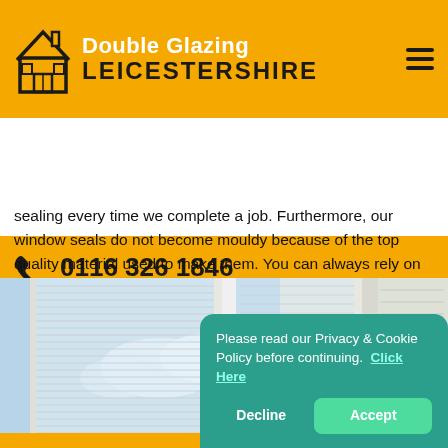Double Glazing LEICESTERSHIRE
0116 326 1846
info@doubleglazing-leicestershire.uk
sealing every time we complete a job. Furthermore, our window seals do not become mouldy because of the top quality material used to make them. You can always rely on our window solutions.
[Figure (photo): Interior view of white double glazed windows with venetian blinds, bright sky visible outside]
Please read our Privacy & Cookie Policy before continuing. Click Here
Decline
Accept